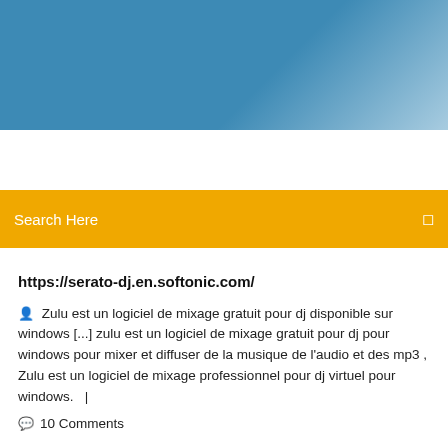[Figure (other): Blue gradient header banner at the top of a webpage screenshot]
[Figure (other): Orange/yellow search bar with 'Search Here' placeholder text and a square icon on the right]
https://serato-dj.en.softonic.com/
Zulu est un logiciel de mixage gratuit pour dj disponible sur windows [...] zulu est un logiciel de mixage gratuit pour dj pour windows pour mixer et diffuser de la musique de l'audio et des mp3 , Zulu est un logiciel de mixage professionnel pour dj virtuel pour windows.   |
10 Comments
Driver Mixtrack Pro 2